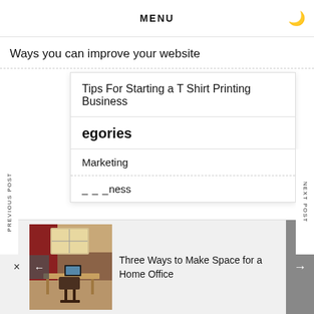MENU
Ways you can improve your website
Tips For Starting a T Shirt Printing Business
Categories
Marketing
Business
PREVIOUS POST
NEXT POST
[Figure (photo): Home office room with skylight window and red walls]
Three Ways to Make Space for a Home Office